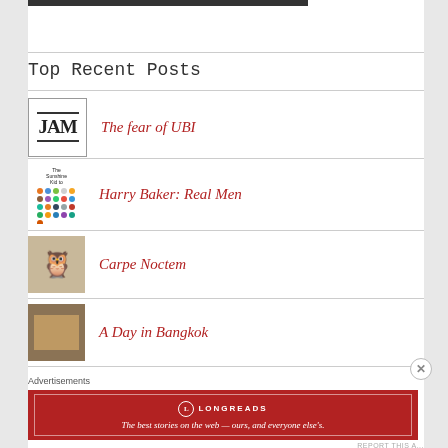Top Recent Posts
The fear of UBI
Harry Baker: Real Men
Carpe Noctem
A Day in Bangkok
Advertisements
[Figure (infographic): Longreads advertisement banner: 'The best stories on the web — ours, and everyone else's.']